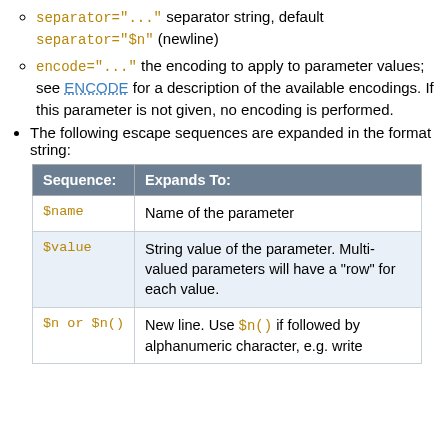separator="..." separator string, default separator="$n" (newline)
encode="..." the encoding to apply to parameter values; see ENCODE for a description of the available encodings. If this parameter is not given, no encoding is performed.
The following escape sequences are expanded in the format string:
| Sequence: | Expands To: |
| --- | --- |
| $name | Name of the parameter |
| $value | String value of the parameter. Multi-valued parameters will have a "row" for each value. |
| $n or $n() | New line. Use $n() if followed by alphanumeric character, e.g. write |